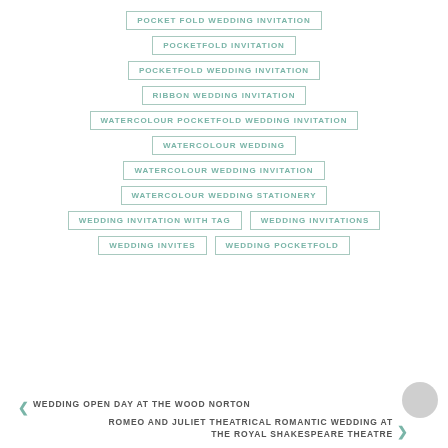POCKET FOLD WEDDING INVITATION
POCKETFOLD INVITATION
POCKETFOLD WEDDING INVITATION
RIBBON WEDDING INVITATION
WATERCOLOUR POCKETFOLD WEDDING INVITATION
WATERCOLOUR WEDDING
WATERCOLOUR WEDDING INVITATION
WATERCOLOUR WEDDING STATIONERY
WEDDING INVITATION WITH TAG
WEDDING INVITATIONS
WEDDING INVITES
WEDDING POCKETFOLD
< WEDDING OPEN DAY AT THE WOOD NORTON
ROMEO AND JULIET THEATRICAL ROMANTIC WEDDING AT THE ROYAL SHAKESPEARE THEATRE >